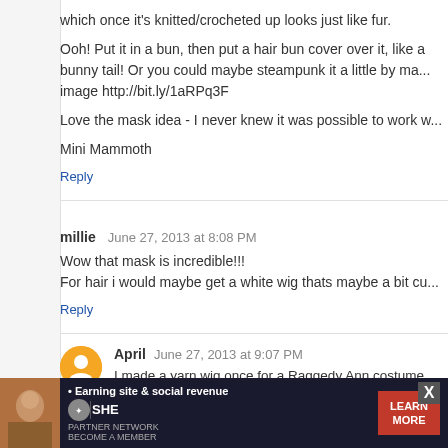which once it's knitted/crocheted up looks just like fur.
Ooh! Put it in a bun, then put a hair bun cover over it, like a bunny tail! Or you could maybe steampunk it a little by ma... image http://bit.ly/1aRPq3F
Love the mask idea - I never knew it was possible to work w...
Mini Mammoth
Reply
millie  June 27, 2013 at 8:08 PM
Wow that mask is incredible!!!
For hair i would maybe get a white wig thats maybe a bit cu...
Reply
April  June 27, 2013 at 9:07 PM
I made a yarn wig once for a Raggedy Ann costume and w... that uses a metal punch tool to wrap short bits of yarn to a... you know what I'm talking about you might be able to... head. Also, you could ponytail your hair out the back...
[Figure (infographic): Advertisement banner: SHE Partner Network - Earning site & social revenue. LEARN MORE button. X close button.]